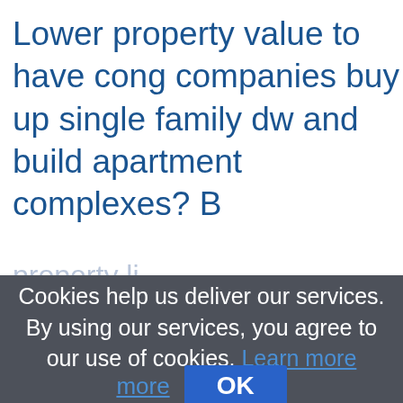Lower property value to have cong companies buy up single family dw and build apartment complexes? B property li
Cookies help us deliver our services. By using our services, you agree to our use of cookies. Learn more
OK